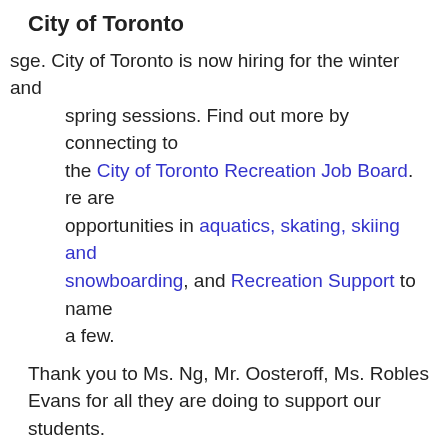City of Toronto
sge. City of Toronto is now hiring for the winter and spring sessions. Find out more by connecting to the City of Toronto Recreation Job Board. re are opportunities in aquatics, skating, skiing and snowboarding, and Recreation Support to name a few.
Thank you to Ms. Ng, Mr. Oosteroff, Ms. Robles Evans for all they are doing to support our students.
Messages from School Council – Chair Tracy Kowal
Voluntary Donation to School Council
School Council – which is comprised of parents